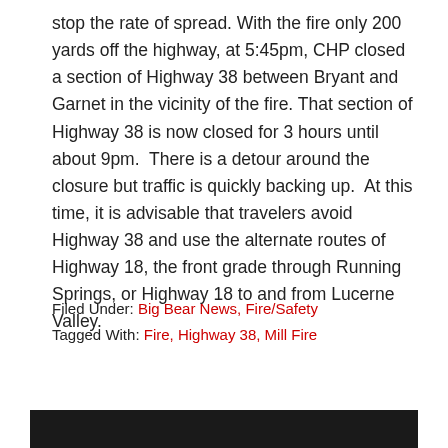stop the rate of spread. With the fire only 200 yards off the highway, at 5:45pm, CHP closed a section of Highway 38 between Bryant and Garnet in the vicinity of the fire. That section of Highway 38 is now closed for 3 hours until about 9pm.  There is a detour around the closure but traffic is quickly backing up.  At this time, it is advisable that travelers avoid Highway 38 and use the alternate routes of Highway 18, the front grade through Running Springs, or Highway 18 to and from Lucerne Valley.
Filed Under: Big Bear News, Fire/Safety
Tagged With: Fire, Highway 38, Mill Fire
[Figure (other): Dark footer bar at bottom of page]